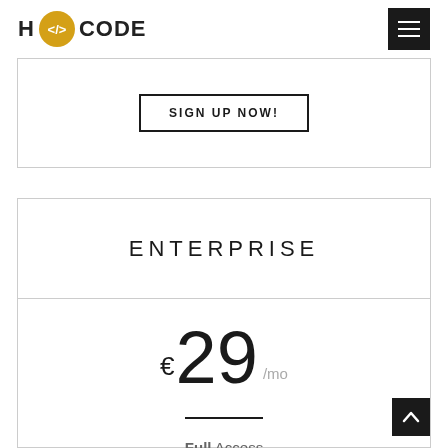H </> CODE
SIGN UP NOW!
ENTERPRISE
€29 /mo
Full Access